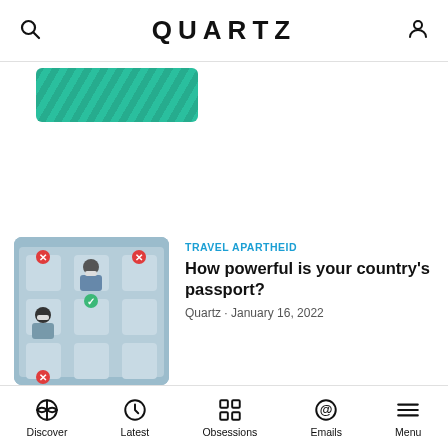QUARTZ
[Figure (photo): Green textured thumbnail image partially visible at top]
[Figure (photo): Article thumbnail showing airplane seats with people wearing masks, red X and green check markers on seats]
TRAVEL APARTHEID
How powerful is your country’s passport?
Quartz • January 16, 2022
[Figure (photo): Article thumbnail showing ethereum coin in dark background]
INTO THE ETHER
What is the ethereum merge?
Quartz • August 19, 2022
[Figure (logo): Gizmodo advertisement logo on white background with a horizontal line below]
Discover  Latest  Obsessions  Emails  Menu